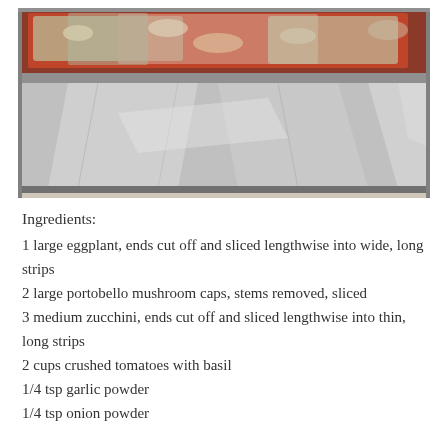[Figure (photo): A baking pan lined with aluminum foil containing a layered vegetable dish topped with tomato sauce and melted cheese/breadcrumbs, placed on a countertop]
Ingredients:
1 large eggplant, ends cut off and sliced lengthwise into wide, long strips
2 large portobello mushroom caps, stems removed, sliced
3 medium zucchini, ends cut off and sliced lengthwise into thin, long strips
2 cups crushed tomatoes with basil
1/4 tsp garlic powder
1/4 tsp onion powder